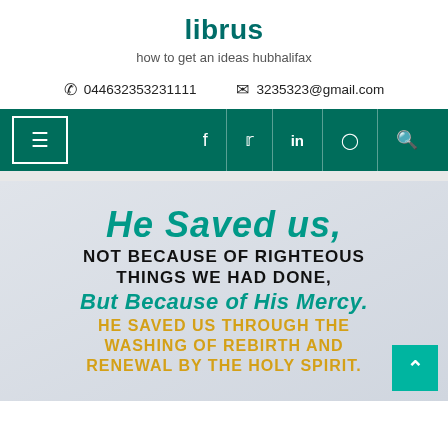librus
how to get an ideas hubhalifax
📞 044632353231111   ✉ 3235323@gmail.com
[Figure (screenshot): Navigation bar with teal background, hamburger menu icon (three lines in white bordered box), social media icons: f (Facebook), bird (Twitter), in (LinkedIn), camera (Instagram), magnifying glass (Search)]
[Figure (infographic): Hero image with gradient grey background and multi-line scripture quote in mixed styles. Line 1 teal italic bold: 'HE SAVED US,' Line 2-3 dark uppercase bold: 'NOT BECAUSE OF RIGHTEOUS THINGS WE HAD DONE,' Line 4 teal italic bold: 'BUT BECAUSE OF HIS MERCY.' Line 5-7 gold uppercase bold: 'HE SAVED US THROUGH THE WASHING OF REBIRTH AND RENEWAL BY THE HOLY SPIRIT.']